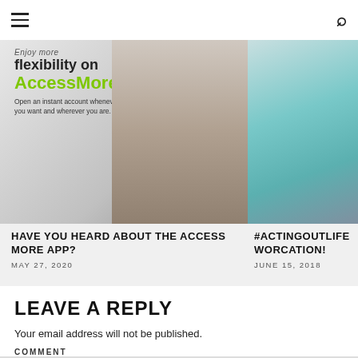Navigation header with hamburger menu and search icon
[Figure (photo): Advertisement banner for AccessMore app showing a man holding a phone with text: Enjoy more flexibility on AccessMore. Open an instant account whenever you want and wherever you are.]
[Figure (photo): Photo of people by a pool with arched stone architecture in the background, partially cropped on right side.]
HAVE YOU HEARD ABOUT THE ACCESS MORE APP?
MAY 27, 2020
#ACTINGOUTLIFE WORCATION!
JUNE 15, 2018
LEAVE A REPLY
Your email address will not be published.
COMMENT